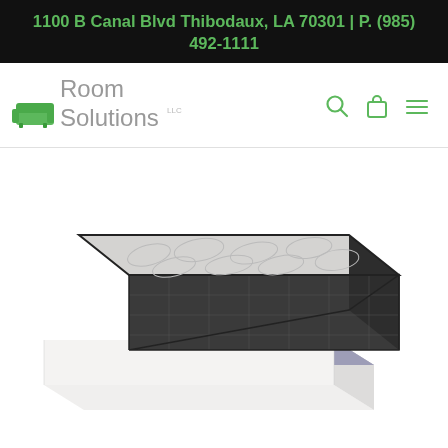1100 B Canal Blvd Thibodaux, LA 70301 | P. (985) 492-1111
[Figure (logo): Room Solutions LLC logo with green sofa icon]
[Figure (photo): A mattress with pillow top sitting on top of a white box spring foundation, product photo on white background]